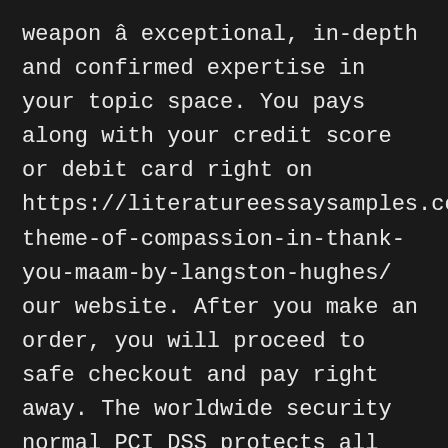weapon â exceptional, in-depth and confirmed expertise in your topic space. You pays along with your credit score or debit card right on https://literatureessaysamples.com/a-theme-of-compassion-in-thank-you-maam-by-langston-hughes/ our website. After you make an order, you will proceed to safe checkout and pay right away. The worldwide security normal PCI DSS protects all monetary transactions. Your data may by no means be transmitted to third parties or revealed publically. The firm operates under strict safety and privacy insurance policies to exclude the slightest risk of information leaks.
Companies like writemyessays.org make the inserting order course of as user-friendly as possible. With